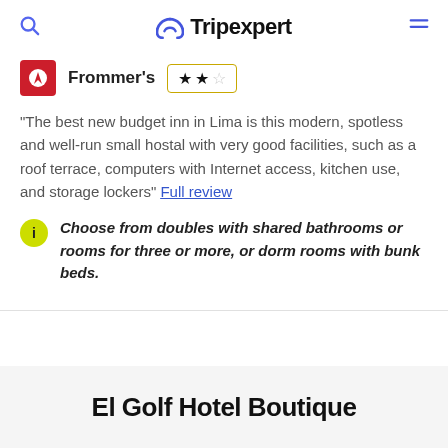Tripexpert
Frommer's ★★☆
"The best new budget inn in Lima is this modern, spotless and well-run small hostal with very good facilities, such as a roof terrace, computers with Internet access, kitchen use, and storage lockers" Full review
Choose from doubles with shared bathrooms or rooms for three or more, or dorm rooms with bunk beds.
El Golf Hotel Boutique